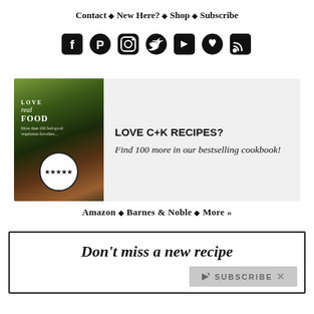Contact ◆ New Here? ◆ Shop ◆ Subscribe
[Figure (infographic): Social media icons: Facebook, Pinterest, Instagram, Twitter, YouTube, Heart/Bloglovin, RSS feed]
[Figure (illustration): Love Real Food cookbook cover with 5-star rating badge, next to promotional text: LOVE C+K RECIPES? Find 100 more in our bestselling cookbook!]
Amazon ◆ Barnes & Noble ◆ More »
Don't miss a new recipe
SUBSCRIBE